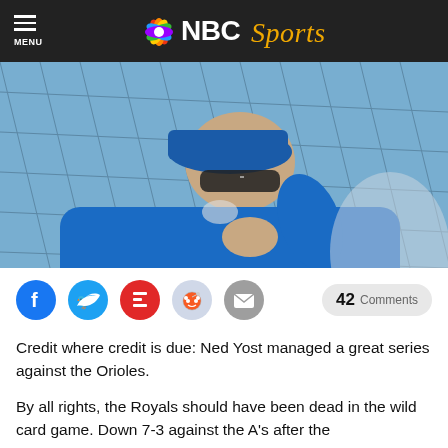MENU | NBC Sports
[Figure (photo): A man wearing a blue baseball cap and sunglasses, dressed in a blue jacket, leaning on a fence or railing thoughtfully, with a net in the background — appears to be a baseball manager or coach.]
[Figure (infographic): Social sharing icons row: Facebook, Twitter, Flipboard, Reddit, Email buttons, and a '42 Comments' button on the right.]
Credit where credit is due: Ned Yost managed a great series against the Orioles.
By all rights, the Royals should have been dead in the wild card game. Down 7-3 against the A's after the